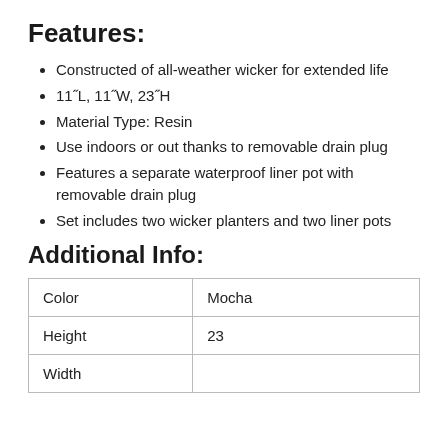Features:
Constructed of all-weather wicker for extended life
11˝L, 11˝W, 23˝H
Material Type: Resin
Use indoors or out thanks to removable drain plug
Features a separate waterproof liner pot with removable drain plug
Set includes two wicker planters and two liner pots
Additional Info:
| Color | Mocha |
| Height | 23 |
| Width |  |